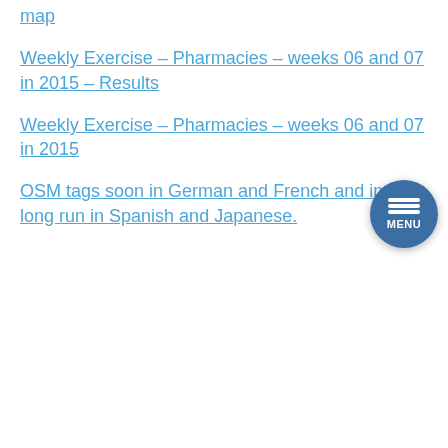map
Weekly Exercise – Pharmacies – weeks 06 and 07 in 2015 – Results
Weekly Exercise – Pharmacies – weeks 06 and 07 in 2015
OSM tags soon in German and French and in the long run in Spanish and Japanese.
[Figure (screenshot): Twitter widget showing 'Tweets de @weeklyOSM' with a Seguir (Follow) button, a tweet from @weeklyOSM dated 21 de ago stating 'weeklyOSM Ausgabe 630 ist nun in *Deutsch* verfügbar. Die neuesten Nachrichten aus der #openstreetmap #osm Welt weeklyosm.eu/de/archives/15…', with a red weeklyOSM logo avatar, a Twitter bird icon, and a strip of images at the bottom. A blue circular MENU button appears in the bottom right.]